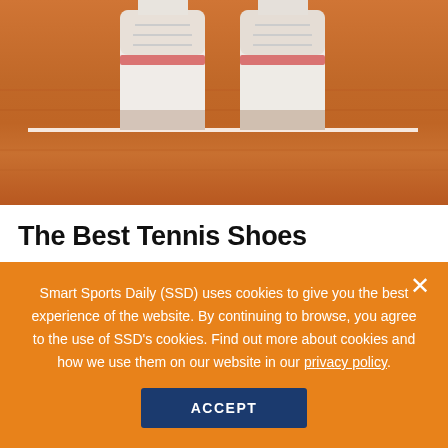[Figure (photo): Close-up of tennis shoes/feet on a clay tennis court, showing white athletic shoes with the orange-red clay court surface and a white court line visible]
The Best Tennis Shoes
Kristin Hitchcock
Updated: August 27, 2022
Everyone needs tennis shoes. They're durable, multipurpose, and incredibly inexpensive for all the functions they provide. But, this multi-functionality coupled with their soaring popularity
Smart Sports Daily (SSD) uses cookies to give you the best experience of the website. By continuing to browse, you agree to the use of SSD's cookies. Find out more about cookies and how we use them on our website in our privacy policy.